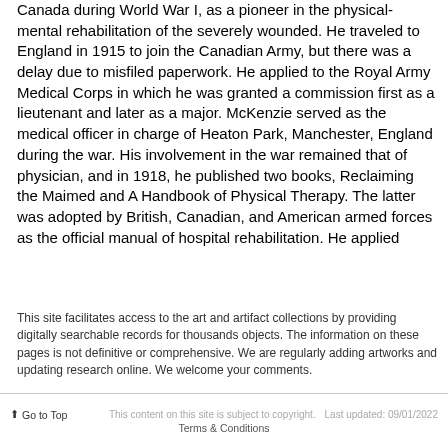Canada during World War I, as a pioneer in the physical-mental rehabilitation of the severely wounded. He traveled to England in 1915 to join the Canadian Army, but there was a delay due to misfiled paperwork. He applied to the Royal Army Medical Corps in which he was granted a commission first as a lieutenant and later as a major. McKenzie served as the medical officer in charge of Heaton Park, Manchester, England during the war. His involvement in the war remained that of physician, and in 1918, he published two books, Reclaiming the Maimed and A Handbook of Physical Therapy. The latter was adopted by British, Canadian, and American armed forces as the official manual of hospital rehabilitation. He applied
This site facilitates access to the art and artifact collections by providing digitally searchable records for thousands objects. The information on these pages is not definitive or comprehensive. We are regularly adding artworks and updating research online. We welcome your comments.
↑ Go to Top   This content on this site is subject to copyright.   Last updated: 09/01/2022   Terms & Conditions